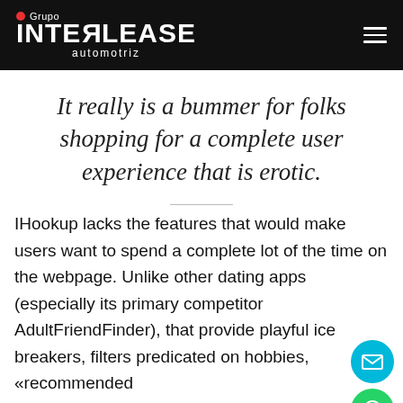Grupo INTERLEASE automotriz
It really is a bummer for folks shopping for a complete user experience that is erotic.
IHookup lacks the features that would make users want to spend a complete lot of the time on the webpage. Unlike other dating apps (especially its primary competitor AdultFriendFinder), that provide playful ice breakers, filters predicated on hobbies, «recommended